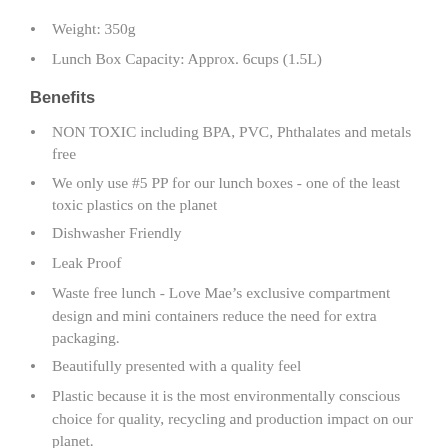Weight: 350g
Lunch Box Capacity: Approx. 6cups (1.5L)
Benefits
NON TOXIC including BPA, PVC, Phthalates and metals free
We only use #5 PP for our lunch boxes - one of the least toxic plastics on the planet
Dishwasher Friendly
Leak Proof
Waste free lunch - Love Mae’s exclusive compartment design and mini containers reduce the need for extra packaging.
Beautifully presented with a quality feel
Plastic because it is the most environmentally conscious choice for quality, recycling and production impact on our planet.